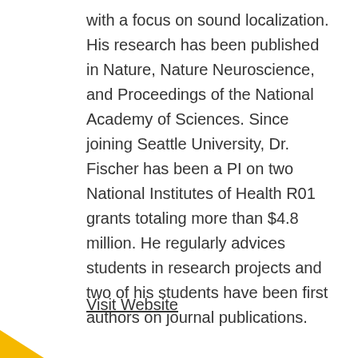with a focus on sound localization. His research has been published in Nature, Nature Neuroscience, and Proceedings of the National Academy of Sciences. Since joining Seattle University, Dr. Fischer has been a PI on two National Institutes of Health R01 grants totaling more than $4.8 million. He regularly advices students in research projects and two of his students have been first authors on journal publications.
Visit Website
[Figure (illustration): Gold/yellow triangular decorative shape in the bottom-left corner of the page]